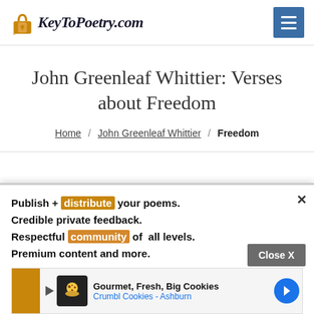KeyToPoetry.com
John Greenleaf Whittier: Verses about Freedom
Home / John Greenleaf Whittier / Freedom
Publish + distribute your poems.
Credible private feedback.
Respectful community of all levels.
Premium content and more.
[Figure (screenshot): Advertisement banner for Crumbl Cookies - Ashburn showing cookie icon and text 'Gourmet, Fresh, Big Cookies']